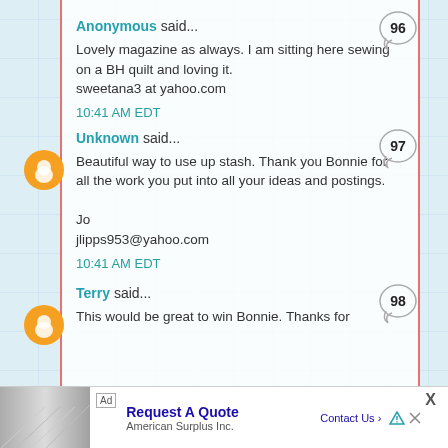Anonymous said...
Lovely magazine as always. I am sitting here sewing on a BH quilt and loving it. sweetana3 at yahoo.com
10:41 AM EDT
Unknown said...
Beautiful way to use up stash. Thank you Bonnie for all the work you put into all your ideas and postings.

Jo
jlipps953@yahoo.com
10:41 AM EDT
Terry said...
This would be great to win Bonnie. Thanks for